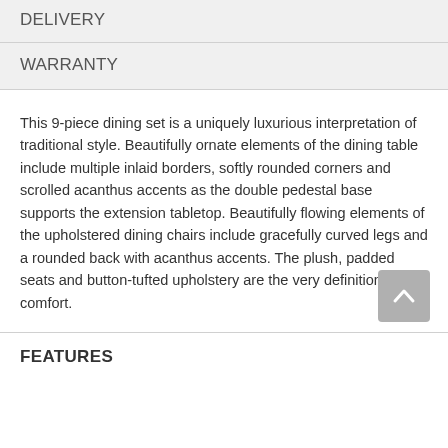DELIVERY
WARRANTY
This 9-piece dining set is a uniquely luxurious interpretation of traditional style. Beautifully ornate elements of the dining table include multiple inlaid borders, softly rounded corners and scrolled acanthus accents as the double pedestal base supports the extension tabletop. Beautifully flowing elements of the upholstered dining chairs include gracefully curved legs and a rounded back with acanthus accents. The plush, padded seats and button-tufted upholstery are the very definition of comfort.
FEATURES